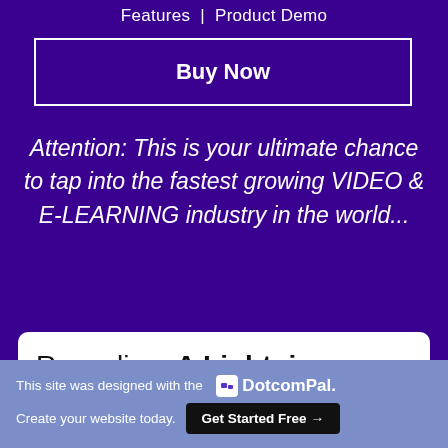Features  |  Product Demo
Buy Now
Attention: This is your ultimate chance to tap into the fastest growing VIDEO & E-LEARNING industry in the world...
Revealing: A Lightning
This site was designed with the DotcomPal. Create your website today. Get Started Free →